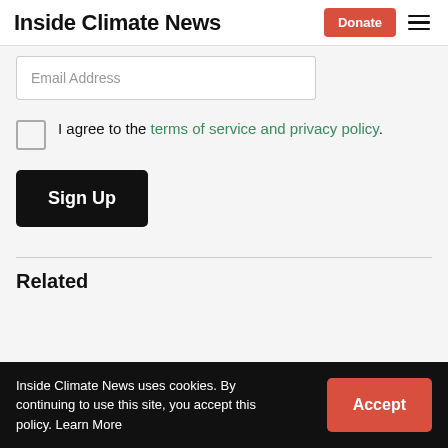Inside Climate News
Email Address
I agree to the terms of service and privacy policy.
Sign Up
Related
Inside Climate News uses cookies. By continuing to use this site, you accept this policy. Learn More